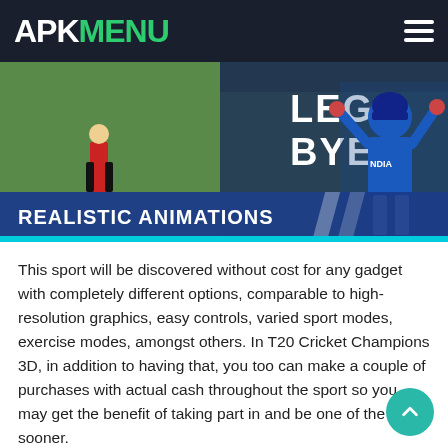APK MENU
[Figure (screenshot): Cricket game banner showing 'LEG BYE' text with 'REALISTIC ANIMATIONS' label and a cricketer in blue India uniform celebrating]
This sport will be discovered without cost for any gadget with completely different options, comparable to high-resolution graphics, easy controls, varied sport modes, exercise modes, amongst others. In T20 Cricket Champions 3D, in addition to having that, you too can make a couple of purchases with actual cash throughout the sport so you may get the benefit of taking part in and be one of the best sooner.
The sport has gained reputation amongst a wide range of customers all over the world because it permits you to take part in varied occasions, first-class matches, and bowling video